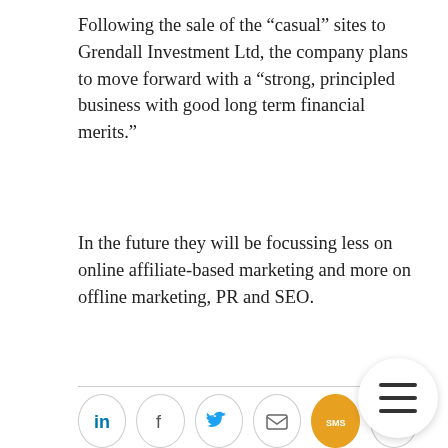Following the sale of the “casual” sites to Grendall Investment Ltd, the company plans to move forward with a “strong, principled business with good long term financial merits.”
In the future they will be focussing less on online affiliate-based marketing and more on offline marketing, PR and SEO.
[Figure (other): Social sharing buttons row: LinkedIn, Facebook, Twitter, Email, SMS, Share icons in circular bordered buttons]
Author Simon Edmunds
Simon is the former editor of Global Dating Insights. Born in Newcastle, he has an English degree from Queen Mary, London and after working for the N... trained as a journalist with the Press Association. Passionate about music, journalism and Newcastle United...